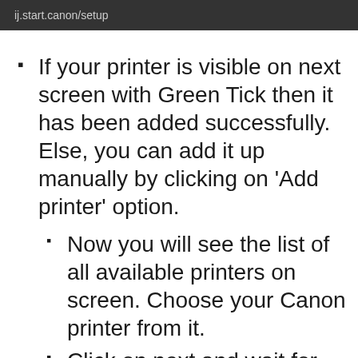ij.start.canon/setup
If your printer is visible on next screen with Green Tick then it has been added successfully. Else, you can add it up manually by clicking on ‘Add printer’ option.
Now you will see the list of all available printers on screen. Choose your Canon printer from it.
Click on next and wait for few second for your printer to get added.